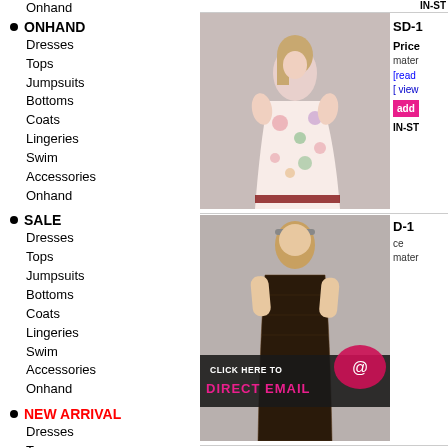ONHAND - Dresses, Tops, Jumpsuits, Bottoms, Coats, Lingeries, Swim, Accessories, Onhand
SALE - Dresses, Tops, Jumpsuits, Bottoms, Coats, Lingeries, Swim, Accessories, Onhand
NEW ARRIVAL - Dresses, Tops, Jumpsuits, Bottoms, Coats, Lingeries, Swim, Accessories, Onhand
[Figure (photo): Model wearing a floral print short-sleeve A-line dress with dark red trim at hem]
SD-1
Price
mater
[read
[ view
add
IN-ST
[Figure (photo): Model wearing a dark patterned dress, partially visible. Overlay banner reads CLICK HERE TO DIRECT EMAIL with envelope icon.]
D-1
ce
mater